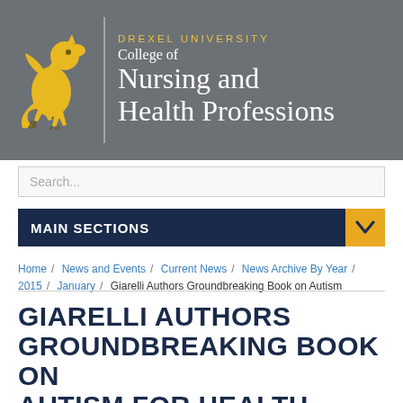[Figure (logo): Drexel University College of Nursing and Health Professions logo with golden dragon and text on gray background]
Search...
MAIN SECTIONS
Home / News and Events / Current News / News Archive By Year / 2015 / January / Giarelli Authors Groundbreaking Book on Autism
GIARELLI AUTHORS GROUNDBREAKING BOOK ON AUTISM FOR HEALTH CARE